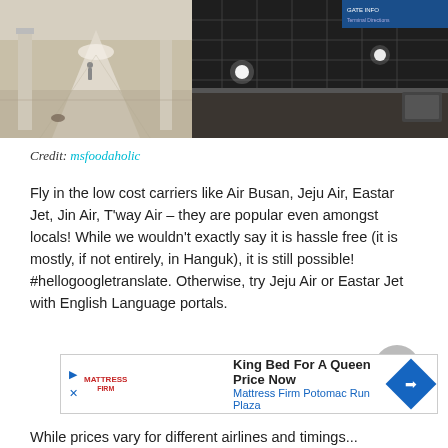[Figure (photo): Two airport interior photos side by side: left shows an empty airport corridor with marble floors and columns; right shows a dark airport ceiling/signage area with LED lights and a blue information sign.]
Credit: msfoodaholic
Fly in the low cost carriers like Air Busan, Jeju Air, Eastar Jet, Jin Air, T'way Air – they are popular even amongst locals! While we wouldn't exactly say it is hassle free (it is mostly, if not entirely, in Hanguk), it is still possible! #hellogoogletranslate. Otherwise, try Jeju Air or Eastar Jet with English Language portals.
[Figure (other): Advertisement: King Bed For A Queen Price Now – Mattress Firm Potomac Run Plaza, with Mattress Firm logo and blue diamond arrow icon.]
While prices vary for different airlines and timings...